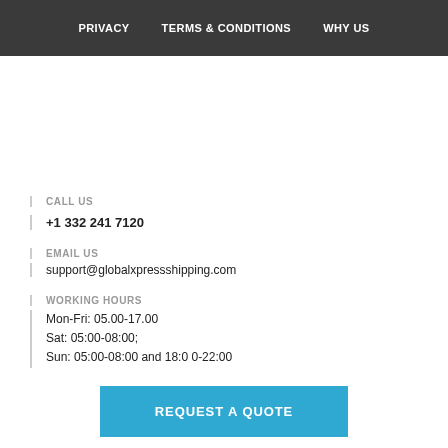PRIVACY   TERMS & CONDITIONS   WHY US
CALL US
+1 332 241 7120
EMAIL US
support@globalxpressshipping.com
WORKING HOURS
Mon-Fri: 05.00-17.00
Sat: 05:00-08:00;
Sun: 05:00-08:00 and 18:0 0-22:00
REQUEST A QUOTE